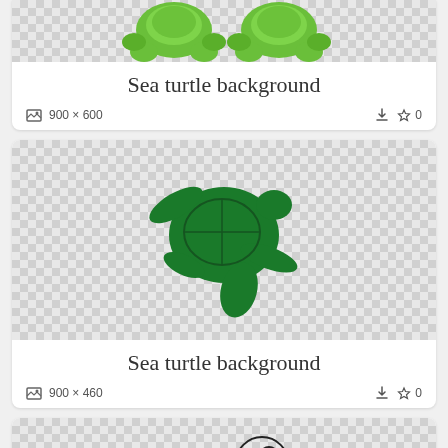[Figure (illustration): Partial top view of cartoon 3D green turtles on checkered transparent background]
Sea turtle background
900 x 600  ⬇ ☆ 0
[Figure (illustration): Flat dark green sea turtle silhouette on checkered transparent background]
Sea turtle background
900 x 460  ⬇ ☆ 0
[Figure (illustration): Black and white line art of a cute baby sea turtle on checkered transparent background]
Sea turtle background (partially visible)